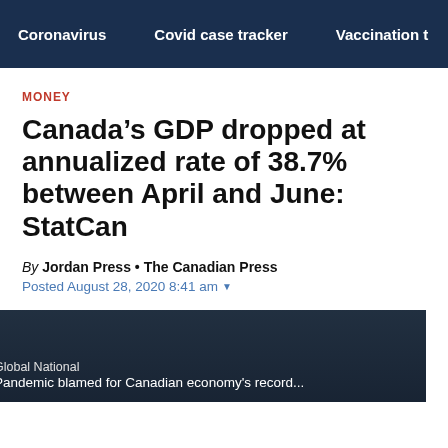Coronavirus | Covid case tracker | Vaccination t
MONEY
Canada’s GDP dropped at annualized rate of 38.7% between April and June: StatCan
By Jordan Press • The Canadian Press
Posted August 28, 2020 8:41 am
[Figure (screenshot): Video thumbnail with dark overlay showing text: Global National / Pandemic blamed for Canadian economy's record...]